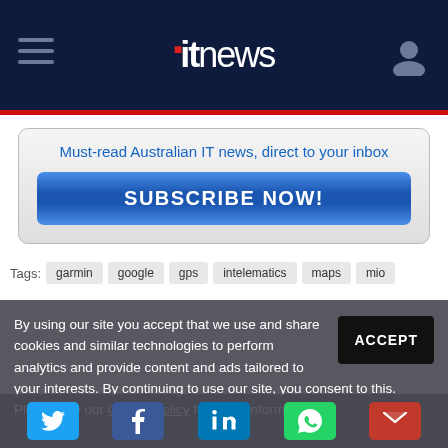itnews
[Figure (screenshot): Subscribe banner with text 'Must-read Australian IT news, direct to your inbox' and a blue SUBSCRIBE NOW button]
Tags: garmin  google  gps  intelematics  maps  mio
By using our site you accept that we use and share cookies and similar technologies to perform analytics and provide content and ads tailored to your interests. By continuing to use our site, you consent to this. Please see our Cookie Policy for more information.
[Figure (screenshot): Social share icons row: Twitter, Facebook, LinkedIn, WhatsApp, Email]